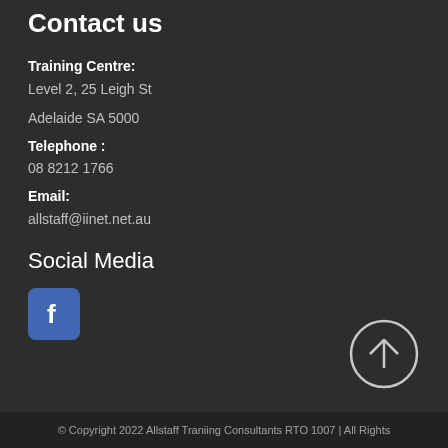Contact us
Training Centre:
Level 2, 25 Leigh St
Adelaide  SA  5000
Telephone :
08 8212 1766
Email:
allstaff@iinet.net.au
Social Media
[Figure (logo): Facebook logo icon — blue rounded square with white 'f' letter]
[Figure (other): Circular button with upward arrow for scroll to top]
© Copyright 2022 Allstaff Traniing Consultants RTO 1007 | All Rights